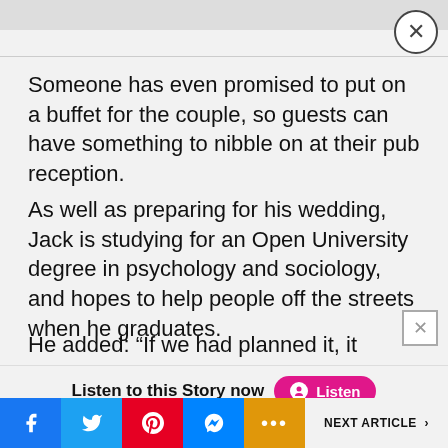Someone has even promised to put on a buffet for the couple, so guests can have something to nibble on at their pub reception.
As well as preparing for his wedding, Jack is studying for an Open University degree in psychology and sociology, and hopes to help people off the streets when he graduates.
He added: “If we had planned it, it couldn’t have turned out better.”
Listen to this Story now  Listen
NEXT ARTICLE >